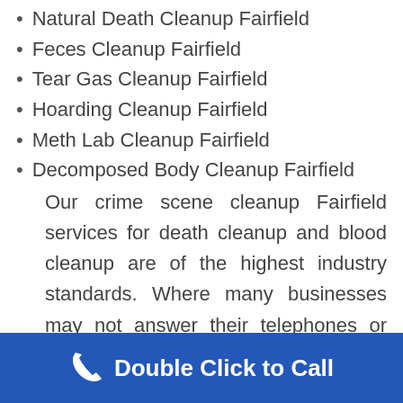Natural Death Cleanup Fairfield
Feces Cleanup Fairfield
Tear Gas Cleanup Fairfield
Hoarding Cleanup Fairfield
Meth Lab Cleanup Fairfield
Decomposed Body Cleanup Fairfield
Our crime scene cleanup Fairfield services for death cleanup and blood cleanup are of the highest industry standards. Where many businesses may not answer their telephones or might use call centers, ours will always be answered by someone who will let you in your time of need. We believe in helping people who are dealing with a tremendous loss and although we may be unable to ease the suffering, it is our obligation to help you make the
Double Click to Call